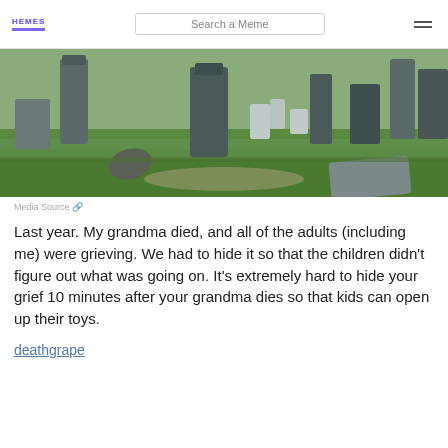MEMES | Search a Meme
[Figure (photo): Photograph of an old cemetery with multiple weathered gravestones and headstones scattered across green grass, some tilted and broken.]
Media Source
Last year. My grandma died, and all of the adults (including me) were grieving. We had to hide it so that the children didn't figure out what was going on. It's extremely hard to hide your grief 10 minutes after your grandma dies so that kids can open up their toys.
deathgrape